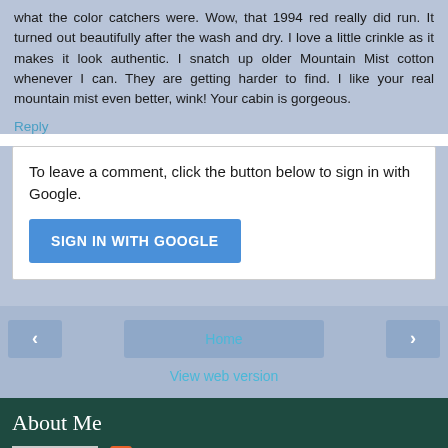what the color catchers were. Wow, that 1994 red really did run. It turned out beautifully after the wash and dry. I love a little crinkle as it makes it look authentic. I snatch up older Mountain Mist cotton whenever I can. They are getting harder to find. I like your real mountain mist even better, wink! Your cabin is gorgeous.
Reply
To leave a comment, click the button below to sign in with Google.
SIGN IN WITH GOOGLE
‹
Home
›
View web version
About Me
Barbara
Quilts and more... passion is sewing and